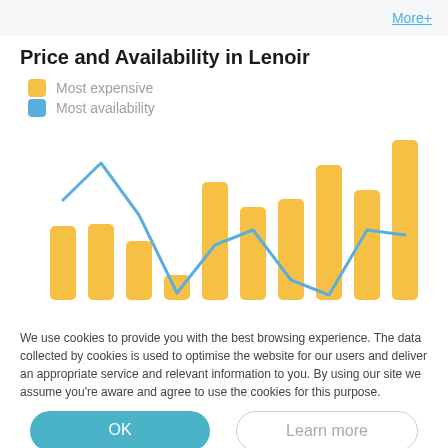More+
Price and Availability in Lenoir
Most expensive
Most availability
[Figure (bar-chart): Price and Availability in Lenoir]
We use cookies to provide you with the best browsing experience. The data collected by cookies is used to optimise the website for our users and deliver an appropriate service and relevant information to you. By using our site we assume you're aware and agree to use the cookies for this purpose.
OK
Learn more